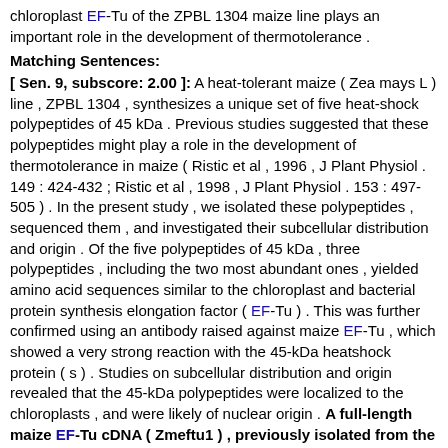chloroplast EF-Tu of the ZPBL 1304 maize line plays an important role in the development of thermotolerance .
Matching Sentences:
[ Sen. 9, subscore: 2.00 ]: A heat-tolerant maize ( Zea mays L ) line , ZPBL 1304 , synthesizes a unique set of five heat-shock polypeptides of 45 kDa . Previous studies suggested that these polypeptides might play a role in the development of thermotolerance in maize ( Ristic et al , 1996 , J Plant Physiol . 149 : 424-432 ; Ristic et al , 1998 , J Plant Physiol . 153 : 497-505 ) . In the present study , we isolated these polypeptides , sequenced them , and investigated their subcellular distribution and origin . Of the five polypeptides of 45 kDa , three polypeptides , including the two most abundant ones , yielded amino acid sequences similar to the chloroplast and bacterial protein synthesis elongation factor ( EF-Tu ) . This was further confirmed using an antibody raised against maize EF-Tu , which showed a very strong reaction with the 45-kDa heatshock protein ( s ) . Studies on subcellular distribution and origin revealed that the 45-kDa polypeptides were localized to the chloroplasts , and were likely of nuclear origin . A full-length maize EF-Tu cDNA ( Zmeftu1 ) , previously isolated from the B73 line of maize , was used as a probe for northern blot analysis of RNA extracted from the ZPBL 1304 maize line ( the nucleotide and deduced amino acid sequences of Zmeftu1 are 88% identical to the rice EF-Tu sequence ) . Northern blots showed a 1 . 85-fold increase in steady-state levels of EF-Tu mRNA during heat stress . An increase in EF-Tu transcript levels during heat stress was accompanied by increased levels of the EF-Tu protein . Isolated chloroplasts from heat-stressed plants also had higher levels of EF-Tu as compared to control chloroplasts . The maize EF-Tu polypeptides showed > 80% sequence similarity with the bacterial EF-Tu , which has recently been shown to